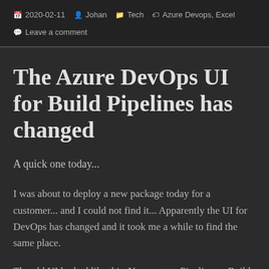2020-02-11  Johan  Tech  Azure Devops, Excel  Leave a comment
The Azure DevOps UI for Build Pipelines has changed
A quick one today...
I was about to deploy a new package today for a customer... and I could not find it... Apparently the UI for DevOps has changed and it took me a while to find the same place.
The old UI looked like this. You went to Pipelines – Build – [your pipeline] – [The run you wanted] – Summary. Under Build Artifacts you could find the